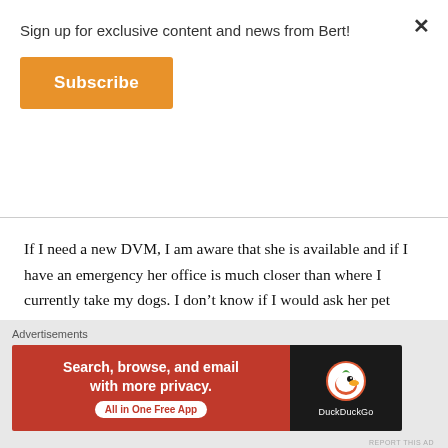Sign up for exclusive content and news from Bert!
Subscribe
If I need a new DVM, I am aware that she is available and if I have an emergency her office is much closer than where I currently take my dogs. I don't know if I would ask her pet questions if I saw her more. I definitely won't after reading this!
Like
Advertisements
[Figure (screenshot): DuckDuckGo advertisement banner: orange-red left section with text 'Search, browse, and email with more privacy. All in One Free App' and dark right section with DuckDuckGo logo and name.]